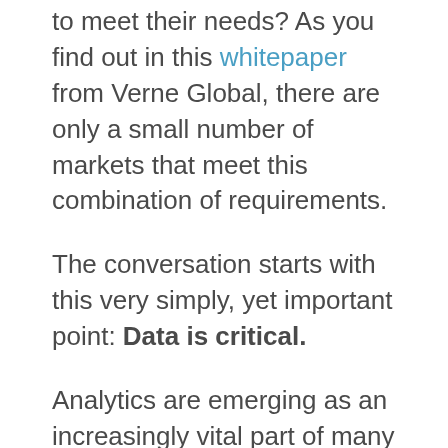to meet their needs? As you find out in this whitepaper from Verne Global, there are only a small number of markets that meet this combination of requirements.
The conversation starts with this very simply, yet important point: Data is critical.
Analytics are emerging as an increasingly vital part of many industries, whether this involves the mining and assessment of customer data, monitoring and optimization of machine-to-machine